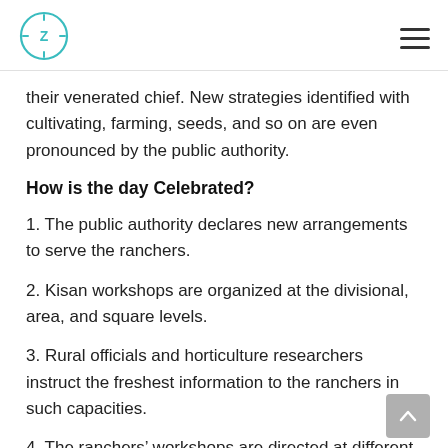[Logo: Z clock icon] [Hamburger menu]
their venerated chief. New strategies identified with cultivating, farming, seeds, and so on are even pronounced by the public authority.
How is the day Celebrated?
1. The public authority declares new arrangements to serve the ranchers.
2. Kisan workshops are organized at the divisional, area, and square levels.
3. Rural officials and horticulture researchers instruct the freshest information to the ranchers in such capacities.
4. The ranchers’ workshops are directed at different horticulture science scenes and agribusiness information